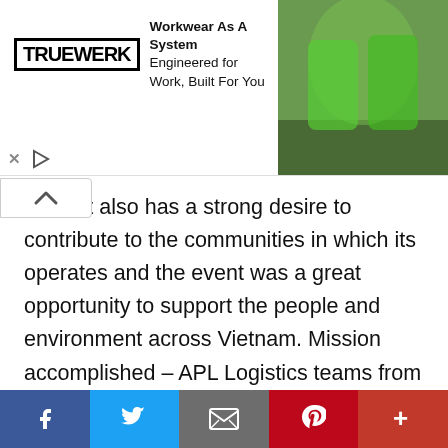[Figure (advertisement): TRUEWERK advertisement banner: 'Workwear As A System Engineered for Work, Built For You' with image of two workers in green gear]
tions. It also has a strong desire to contribute to the communities in which its operates and the event was a great opportunity to support the people and environment across Vietnam. Mission accomplished – APL Logistics teams from Vietnam, the United States, and Singapore Planting mangrove trees Over 200 mangrove seedlings were planted by an APL Logistics delegation in My Long Nam commune; however, the whole project will include over 2,500 trees. The seedlings will grow
[Figure (infographic): Social media sharing bar with Facebook, Twitter, Email, Pinterest, and More buttons]